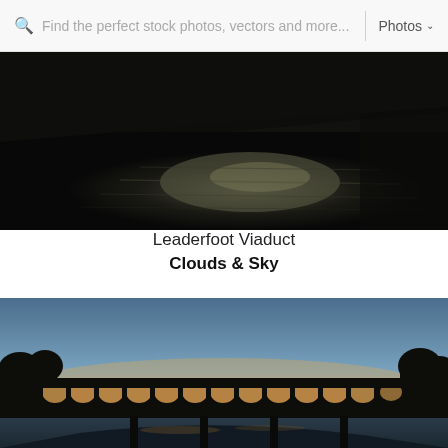Find the perfect stock photos, vectors and more...  Photos
[Figure (photo): Dark moody photo taken from under a bridge or viaduct, showing reflections on water surface below, very dark tones with some light reflecting off water]
Leaderfoot Viaduct
Clouds & Sky
[Figure (photo): Silhouette of Leaderfoot Viaduct with multiple arches against a twilight/sunset sky graduating from blue at top to warm orange near horizon, with river visible below and trees on either side]